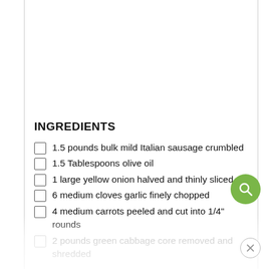INGREDIENTS
1.5 pounds bulk mild Italian sausage crumbled
1.5 Tablespoons olive oil
1 large yellow onion halved and thinly sliced
6 medium cloves garlic finely chopped
4 medium carrots peeled and cut into 1/4" rounds
2 pounds green cabbage core removed and shredded